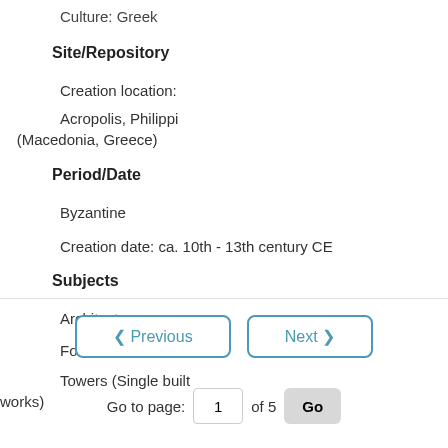Culture: Greek
Site/Repository
Creation location:
Acropolis, Philippi (Macedonia, Greece)
Period/Date
Byzantine
Creation date: ca. 10th - 13th century CE
Subjects
Architecture
Fortifications
Towers (Single built works)
< Previous   Next >
Go to page: 1 of 5 Go